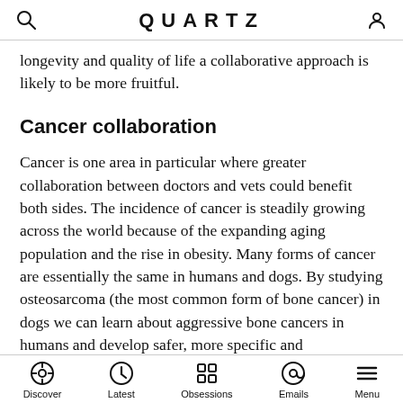QUARTZ
longevity and quality of life a collaborative approach is likely to be more fruitful.
Cancer collaboration
Cancer is one area in particular where greater collaboration between doctors and vets could benefit both sides. The incidence of cancer is steadily growing across the world because of the expanding aging population and the rise in obesity. Many forms of cancer are essentially the same in humans and dogs. By studying osteosarcoma (the most common form of bone cancer) in dogs we can learn about aggressive bone cancers in humans and develop safer, more specific and
Discover  Latest  Obsessions  Emails  Menu